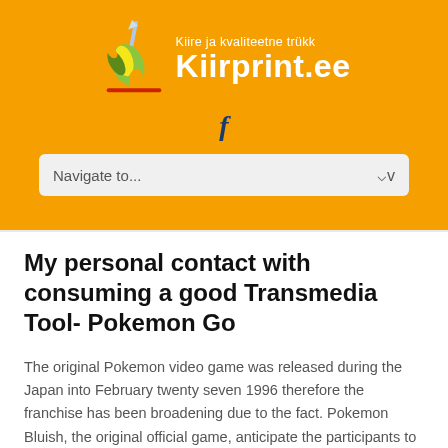[Figure (logo): Kiirprint.ee logo with stylized pen/flame graphic on orange background. Tagline: Kiire ja kvaliteetne trükk, brand name: Kiirprint.ee]
[Figure (logo): Facebook 'f' icon in dark blue]
Navigate to...
My personal contact with consuming a good Transmedia Tool- Pokemon Go
The original Pokemon video game was released during the Japan into February twenty seven 1996 therefore the franchise has been broadening due to the fact. Pokemon Bluish, the original official game, anticipate the participants to capture 151 different varieties of